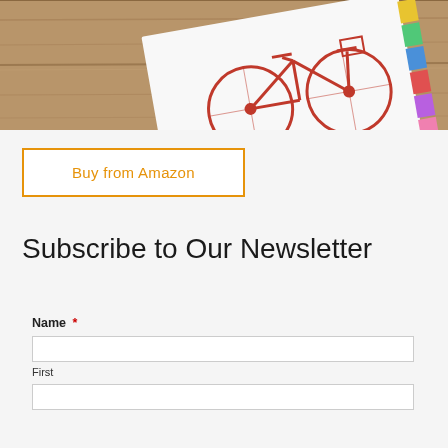[Figure (photo): Photo of a book by Chris Guillebeau (New York Times Bestseller) with a bicycle illustration on the cover, lying on a wooden table with colorful sticky tabs on the right edge.]
Buy from Amazon
Subscribe to Our Newsletter
Name *
First